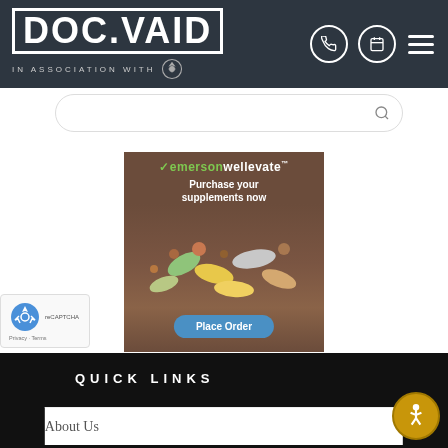[Figure (logo): DOC.VAID logo in white on dark background with 'IN ASSOCIATION WITH' text and partner icon, plus phone, calendar, and menu icons]
[Figure (screenshot): Emerson Wellevate advertisement banner showing supplements and a 'Place Order' button]
QUICK LINKS
About Us
[Figure (other): reCAPTCHA Privacy - Terms badge]
[Figure (other): Accessibility button (person icon in golden circle)]